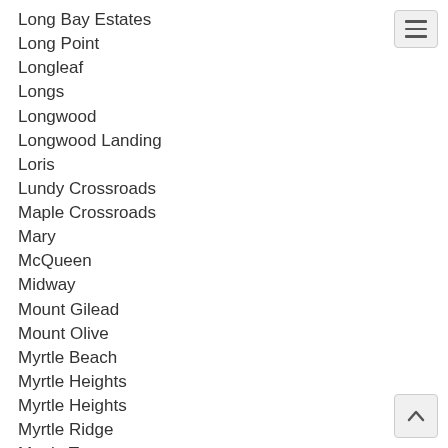Long Bay Estates
Long Point
Longleaf
Longs
Longwood
Longwood Landing
Loris
Lundy Crossroads
Maple Crossroads
Mary
McQueen
Midway
Mount Gilead
Mount Olive
Myrtle Beach
Myrtle Heights
Myrtle Heights
Myrtle Ridge
Myrtle Trace
Ned Swamp
Nixons Crossroads
Nixonville
North Conway
North Myrtle Beach